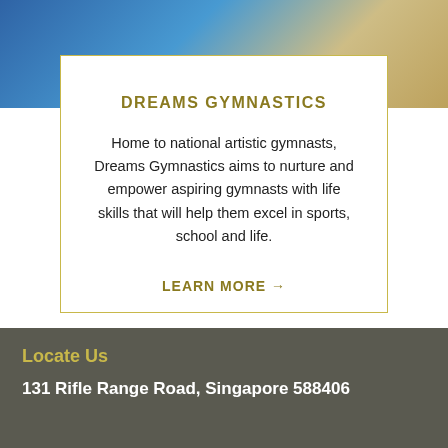[Figure (photo): Partial photo of gymnasts or people at a gymnastics facility, cropped at top of page with colorful blue and yellow background]
DREAMS GYMNASTICS
Home to national artistic gymnasts, Dreams Gymnastics aims to nurture and empower aspiring gymnasts with life skills that will help them excel in sports, school and life.
LEARN MORE →
Locate Us
131 Rifle Range Road, Singapore 588406